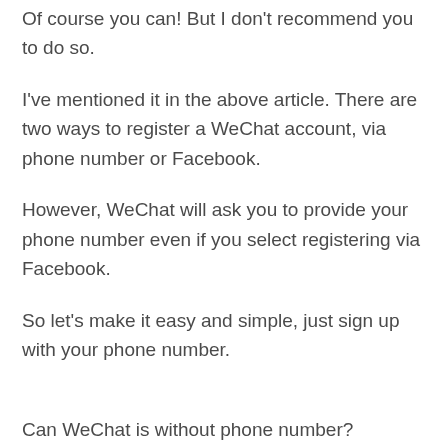Of course you can! But I don't recommend you to do so.
I've mentioned it in the above article. There are two ways to register a WeChat account, via phone number or Facebook.
However, WeChat will ask you to provide your phone number even if you select registering via Facebook.
So let's make it easy and simple, just sign up with your phone number.
Can WeChat is without phone number?